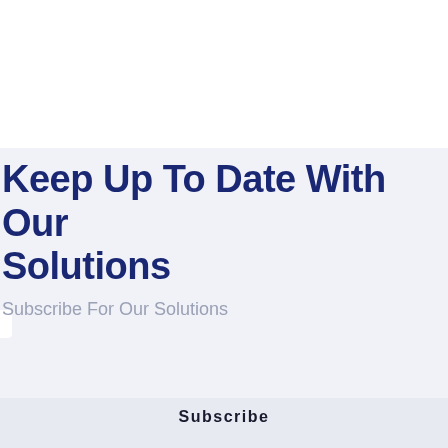Keep Up To Date With Our Solutions
Subscribe For Our Solutions
Subscribe